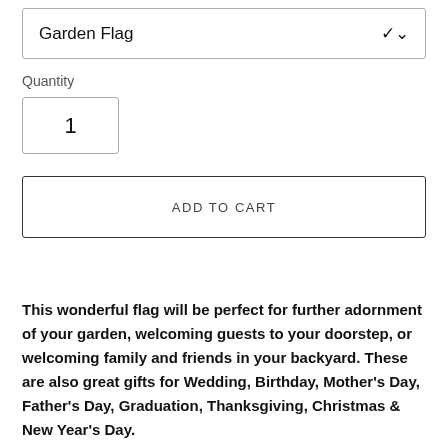Garden Flag
Quantity
1
ADD TO CART
This wonderful flag will be perfect for further adornment of your garden, welcoming guests to your doorstep, or welcoming family and friends in your backyard. These are also great gifts for Wedding, Birthday, Mother's Day, Father's Day, Graduation, Thanksgiving, Christmas & New Year's Day.
The double sided home and garden size 28x40, 12x18 flags